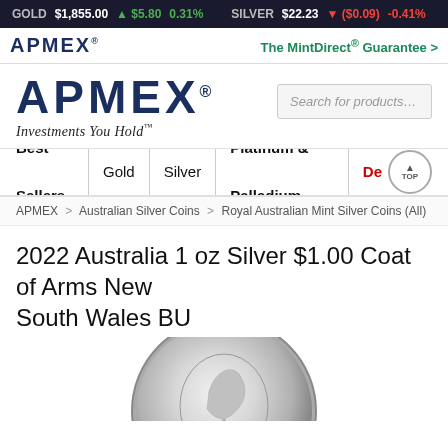GOLD $1,855.00 ▲ $5.80 0.31%   SILVER $22.23 ▼ ($0.09) -0.41%
[Figure (logo): APMEX logo in header nav bar with The MintDirect® Guarantee >]
[Figure (logo): APMEX large logo with tagline Investments You Hold™ and search bar]
Best Sellers | Gold | Silver | Platinum & Palladium | De
APMEX > Australian Silver Coins > Royal Australian Mint Silver Coins (All)
2022 Australia 1 oz Silver $1.00 Coat of Arms New South Wales BU
[Figure (photo): Silver coin showing coat of arms design, partially visible at bottom of page]